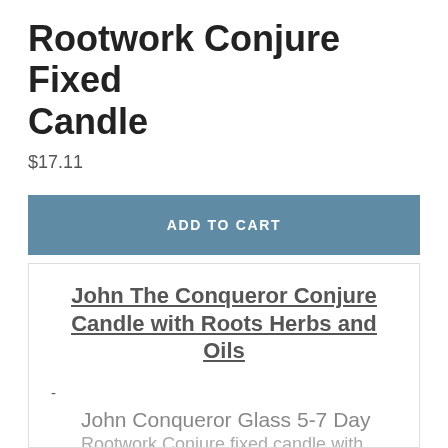Rootwork Conjure Fixed Candle
$17.11
ADD TO CART
John The Conqueror Conjure Candle with Roots Herbs and Oils
-
John Conqueror Glass 5-7 Day Rootwork Conjure fixed candle with